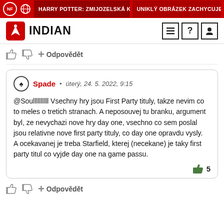HARRY POTTER: ZMIJOZELSKÁ KOL... | UNIKLÝ OBRÁZEK ZACHYCUJE G...
[Figure (logo): Indian website logo with red rocket icon and INDIAN text]
Odpovědět
Spade • úterý, 24. 5. 2022, 9:15
@Soullllllllll Vsechny hry jsou First Party tituly, takze nevim co to meles o tretich stranach. A neposouvej tu branku, argument byl, ze nevychazi nove hry day one, vsechno co sem poslal jsou relativne nove first party tituly, co day one opravdu vysly.
A ocekavanej je treba Starfield, kterej (necekane) je taky first party titul co vyjde day one na game passu.
5
Odpovědět